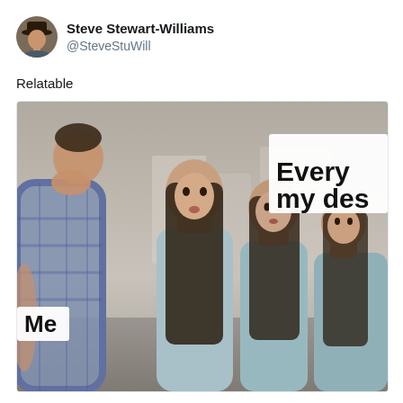[Figure (screenshot): Twitter/X post by Steve Stewart-Williams (@SteveStuWill) showing a meme based on the 'distracted boyfriend' format. A man labeled 'Me' is turning to look at women in a line, and in the upper right there is text reading 'Every [something] my des[tiny/ire]'. The tweet caption reads 'Relatable'.]
Relatable